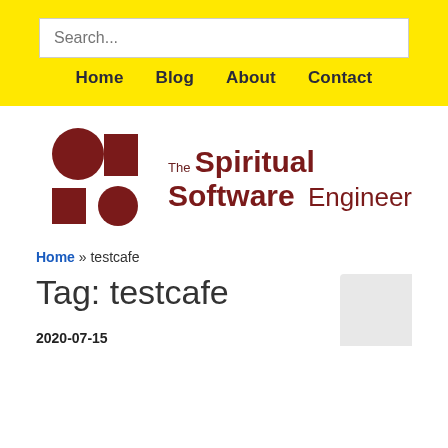Search...
Home  Blog  About  Contact
[Figure (logo): The Spiritual Software Engineer logo: dark red geometric shapes (circle, square, smaller circle) alongside bold text reading 'The Spiritual Software Engineer']
Home » testcafe
Tag: testcafe
2020-07-15